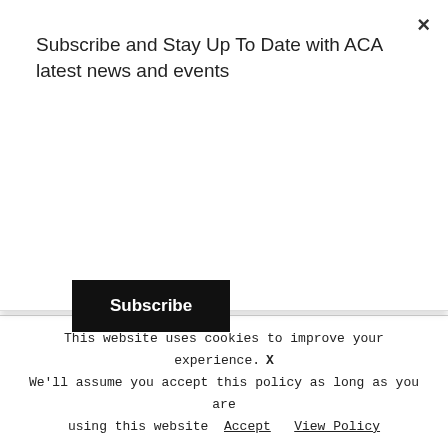Subscribe and Stay Up To Date with ACA latest news and events
Subscribe
@mr.morsch @myanalogshots @maartenmoerman @martinwilmsenphoto @life.is.instant @rolfvanrooij @qubams @daanblom ————— @tokyocamerastyle look analog cameras in Amsterdam ;) —————
Now for the $1000000 question can you name each camera and his/her owner?
#pentax67 #rolleiflex28e #contaxt3 #hasselblad #olympusmjuii #leicam6 #leicam2#minolta#nikonf3#olympuspenf#fujigw670ii #polaroidsx70 #olympusaf1 #revueml#pentaxk1000#acaphotowalk#acameetup
This website uses cookies to improve your experience. We'll assume you accept this policy as long as you are using this website Accept  View Policy